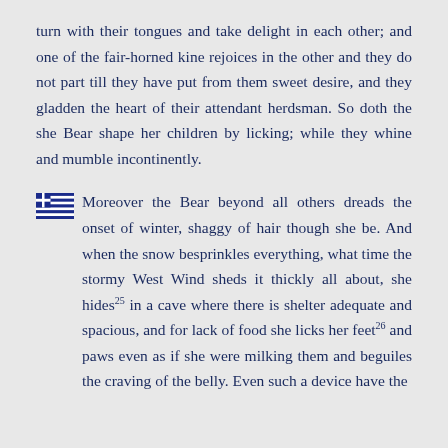turn with their tongues and take delight in each other; and one of the fair-horned kine rejoices in the other and they do not part till they have put from them sweet desire, and they gladden the heart of their attendant herdsman. So doth the she Bear shape her children by licking; while they whine and mumble incontinently.
Moreover the Bear beyond all others dreads the onset of winter, shaggy of hair though she be. And when the snow besprinkles everything, what time the stormy West Wind sheds it thickly all about, she hides25 in a cave where there is shelter adequate and spacious, and for lack of food she licks her feet26 and paws even as if she were milking them and beguiles the craving of the belly. Even such a device have the